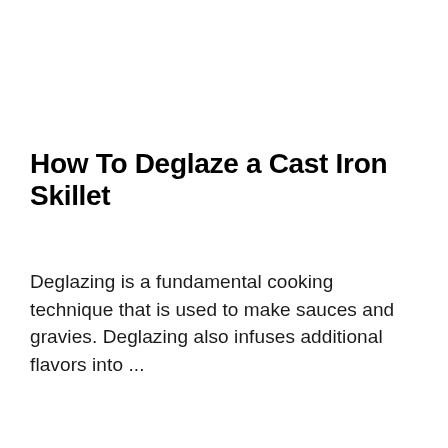How To Deglaze a Cast Iron Skillet
Deglazing is a fundamental cooking technique that is used to make sauces and gravies. Deglazing also infuses additional flavors into ...